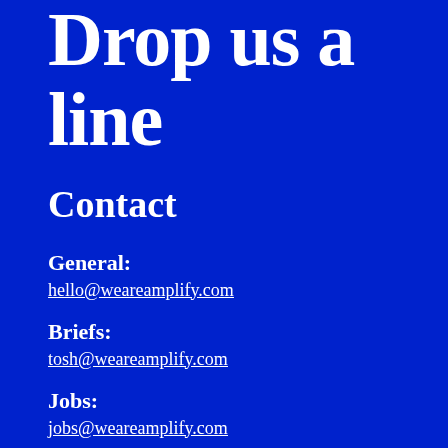Drop us a line
Contact
General:
hello@weareamplify.com
Briefs:
tosh@weareamplify.com
Jobs:
jobs@weareamplify.com
Press: